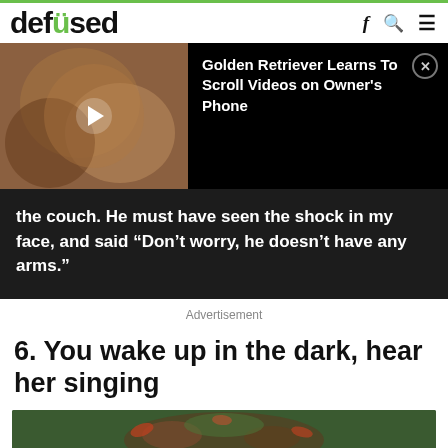defused
[Figure (screenshot): Video thumbnail showing a golden retriever dog with play button overlay]
Golden Retriever Learns To Scroll Videos on Owner's Phone
the couch. He must have seen the shock in my face, and said “Don’t worry, he doesn’t have any arms.”
Advertisement
6. You wake up in the dark, hear her singing
[Figure (photo): Partial image at bottom of page showing decorative floral pattern]